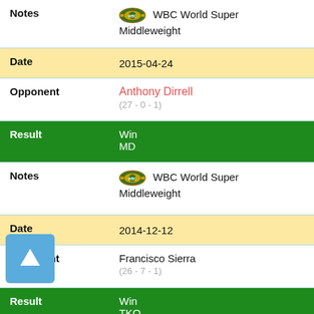| Field | Value |
| --- | --- |
| Notes | WBC World Super Middleweight |
| Date | 2015-04-24 |
| Opponent | Anthony Dirrell (27 - 0 - 1) |
| Result | Win MD |
| Notes | WBC World Super Middleweight |
| Date | 2014-12-12 |
| Opponent | Francisco Sierra (26 - 7 - 1) |
| Result | Win TKO |